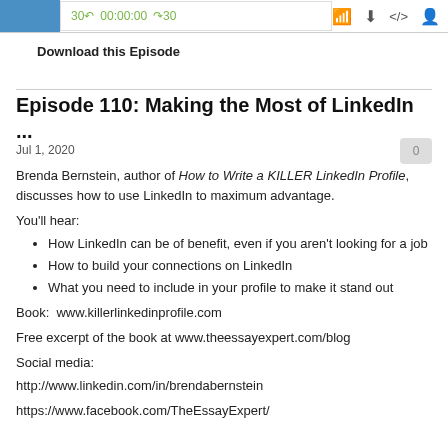[Figure (screenshot): Podcast player bar with blue icon, playback controls showing 30 back, 00:00:00 timer, 30 forward in green, and icons for RSS, download, embed, and settings]
Download this Episode
Episode 110: Making the Most of LinkedIn ...
Jul 1, 2020
Brenda Bernstein, author of How to Write a KILLER LinkedIn Profile, discusses how to use LinkedIn to maximum advantage.
You'll hear:
How LinkedIn can be of benefit, even if you aren't looking for a job
How to build your connections on LinkedIn
What you need to include in your profile to make it stand out
Book:  www.killerlinkedinprofile.com
Free excerpt of the book at www.theessayexpert.com/blog
Social media:
http://www.linkedin.com/in/brendabernstein
https://www.facebook.com/TheEssayExpert/